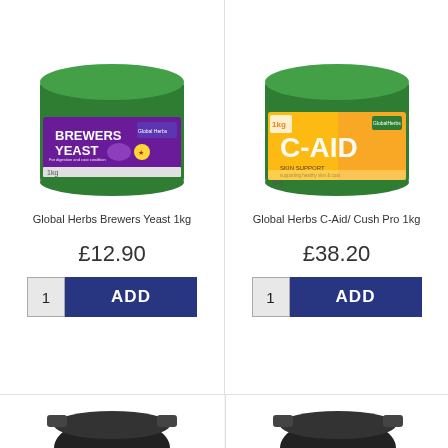[Figure (photo): Green tub of Global Herbs Brewers Yeast 1kg with purple label showing a horse illustration]
Global Herbs Brewers Yeast 1kg
£12.90
[Figure (photo): Green tub of Global Herbs C-Aid / Cush Pro 1kg with yellow/orange label]
Global Herbs C-Aid/ Cush Pro 1kg
£38.20
Back to Top